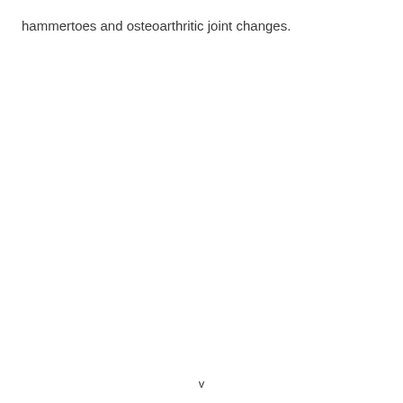hammertoes and osteoarthritic joint changes.
v